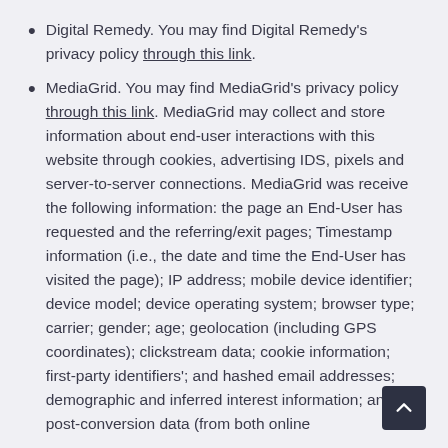Digital Remedy. You may find Digital Remedy's privacy policy through this link.
MediaGrid. You may find MediaGrid's privacy policy through this link. MediaGrid may collect and store information about end-user interactions with this website through cookies, advertising IDS, pixels and server-to-server connections. MediaGrid was receive the following information: the page an End-User has requested and the referring/exit pages; Timestamp information (i.e., the date and time the End-User has visited the page); IP address; mobile device identifier; device model; device operating system; browser type; carrier; gender; age; geolocation (including GPS coordinates); clickstream data; cookie information; first-party identifiers'; and hashed email addresses; demographic and inferred interest information; and post-conversion data (from both online